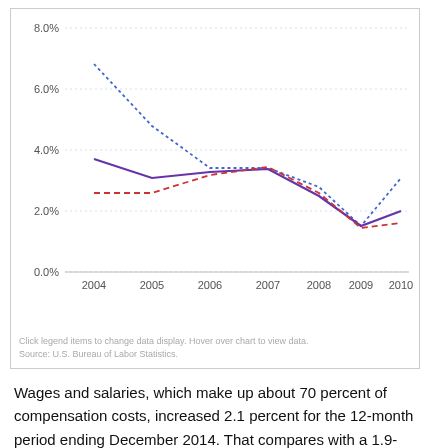[Figure (line-chart): ]
Click legend items to change data display. Hover over chart to view data.
Source: U.S. Bureau of Labor Statistics.
Wages and salaries, which make up about 70 percent of compensation costs, increased 2.1 percent for the 12-month period ending December 2014. That compares with a 1.9-percent increase from December 2012 to December 2013. Before 2008, the 12-